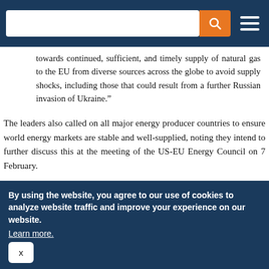[Search bar and navigation menu]
towards continued, sufficient, and timely supply of natural gas to the EU from diverse sources across the globe to avoid supply shocks, including those that could result from a further Russian invasion of Ukraine.”
The leaders also called on all major energy producer countries to ensure world energy markets are stable and well-supplied, noting they intend to further discuss this at the meeting of the US-EU Energy Council on 7 February.
Notable US Developments
Both chambers of the Congress return to session in Washington on 1 February. Democratic Congressional Leaders indicated last week that on Omnibus spending bill to fund the US Federal Government...
By using the website, you agree to our use of cookies to analyze website traffic and improve your experience on our website. Learn more.